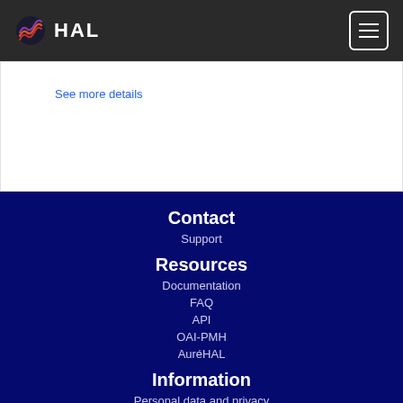HAL
See more details
Contact
Support
Resources
Documentation
FAQ
API
OAI-PMH
AuréHAL
Information
Personal data and privacy
Legal notice